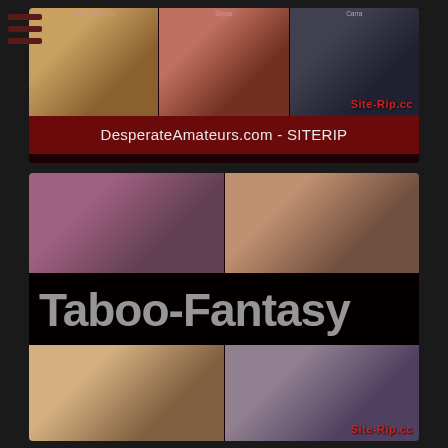[Figure (screenshot): DesperateAmateurs.com site rip card with thumbnail images and dark red title bar showing 'DesperateAmateurs.com - SITERIP']
[Figure (screenshot): Taboo-Fantasy site rip card with thumbnail images, large Taboo-Fantasy text overlay, and dark red title bar showing 'Clips4Sale.com/Taboo-Fantasy.com - SITERIP']